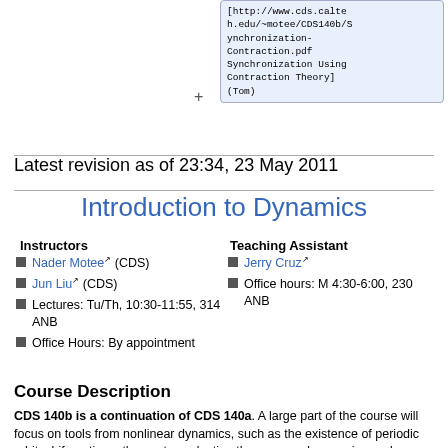[http://...h.edu/~motee/CDS140b/Synchronization-Contraction.pdf Synchronization Using Contraction Theory] (Tom)
Latest revision as of 23:34, 23 May 2011
Introduction to Dynamics
Instructors
Teaching Assistant
Nader Motee (CDS)
Jun Liu (CDS)
Lectures: Tu/Th, 10:30-11:55, 314 ANB
Office Hours: By appointment
Jerry Cruz
Office hours: M 4:30-6:00, 230 ANB
Course Description
CDS 140b is a continuation of CDS 140a. A large part of the course will focus on tools from nonlinear dynamics, such as the existence of periodic orbits, bifurcations, the center reduction theorem, and averaging and...